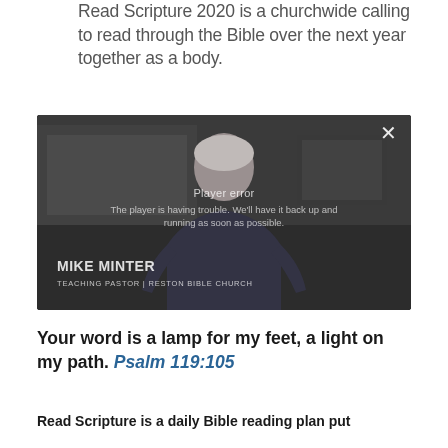Read Scripture 2020 is a churchwide calling to read through the Bible over the next year together as a body.
[Figure (screenshot): Video player showing an older man (Mike Minter, Teaching Pastor at Reston Bible Church) with a player error overlay. The error message reads: 'Player error — The player is having trouble. We'll have it back up and running as soon as possible.' A white X close button appears in the top right corner.]
Your word is a lamp for my feet, a light on my path. Psalm 119:105
Read Scripture is a daily Bible reading plan put